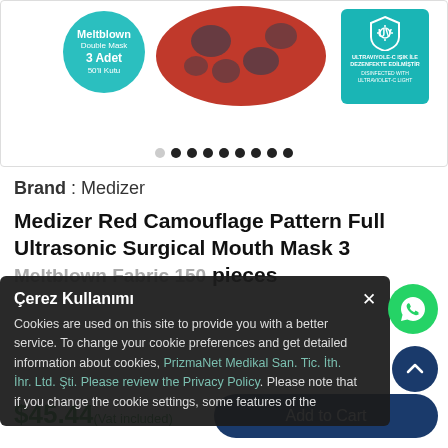[Figure (photo): Product image area showing a teal circular badge with text 'Meltblown Double Mask 3 Adet 50'li Kutu', red camouflage patterned masks in center, and a teal UV disinfection badge on the right with UV shield icon and text 'ULTRAVIYOLE-C IŞIK İLE DEZENFEKTE EDİLMİŞTİR / DISINFECTED WITH ULTRAVIOLET-C LIGHT']
Brand : Medizer
Medizer Red Camouflage Pattern Full Ultrasonic Surgical Mouth Mask 3 [Meltblown Fabric 150] pieces
Çerez Kullanımı
Cookies are used on this site to provide you with a better service. To change your cookie preferences and get detailed information about cookies, PrizmaNet Medikal San. Tic. İth. İhr. Ltd. Şti. Please review the Privacy Policy. Please note that if you change the cookie settings, some features of the
$45.44(Vat included)